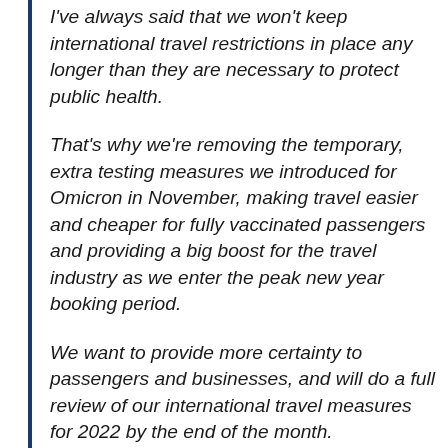I've always said that we won't keep international travel restrictions in place any longer than they are necessary to protect public health.
That's why we're removing the temporary, extra testing measures we introduced for Omicron in November, making travel easier and cheaper for fully vaccinated passengers and providing a big boost for the travel industry as we enter the peak new year booking period.
We want to provide more certainty to passengers and businesses, and will do a full review of our international travel measures for 2022 by the end of the month.